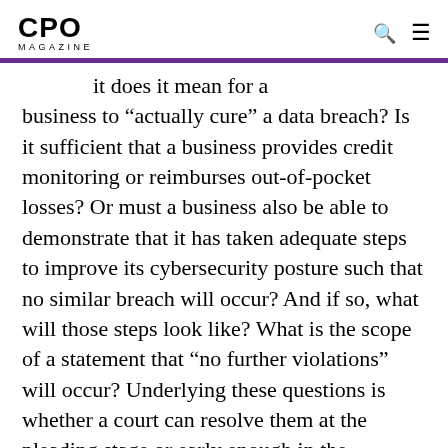CPO MAGAZINE
it does it mean for a business to “actually cure” a data breach? Is it sufficient that a business provides credit monitoring or reimburses out-of-pocket losses? Or must a business also be able to demonstrate that it has taken adequate steps to improve its cybersecurity posture such that no similar breach will occur? And if so, what will those steps look like? What is the scope of a statement that “no further violations” will occur? Underlying these questions is whether a court can resolve them at the pleading stage or early enough in the litigation to protect a